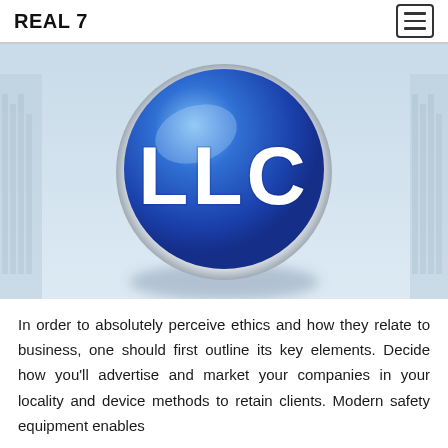REAL 7
[Figure (illustration): A 3D blue sphere/button with white text 'LLC' on it, with a silver rim and shadow, set against a light blue background with blurred building shapes.]
In order to absolutely perceive ethics and how they relate to business, one should first outline its key elements. Decide how you'll advertise and market your companies in your locality and device methods to retain clients. Modern safety equipment enables